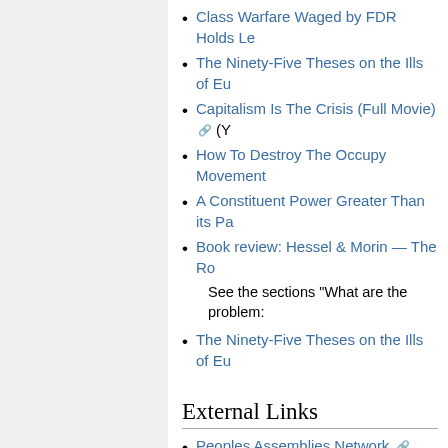Class Warfare Waged by FDR Holds Le…
The Ninety-Five Theses on the Ills of Eu…
Capitalism Is The Crisis (Full Movie) (Y…
How To Destroy The Occupy Movement…
A Constituent Power Greater Than its Pa…
Book review: Hessel & Morin — The Ro…
See the sections "What are the problem…
The Ninety-Five Theses on the Ills of Eu…
External Links
Peoples Assemblies Network
Includes Peoples Assemblies News ar…
Federated General Assembly - Introduct…
Federated General Assembly - Descripti…
The Federated General Assembly (FGA)… techniques and ideas, lessons and patte… real ecosystem of Occupy itself: occupat…